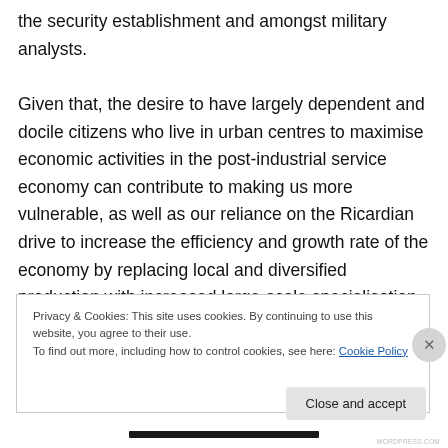the security establishment and amongst military analysts.

Given that, the desire to have largely dependent and docile citizens who live in urban centres to maximise economic activities in the post-industrial service economy can contribute to making us more vulnerable, as well as our reliance on the Ricardian drive to increase the efficiency and growth rate of the economy by replacing local and diversified production with increased large-scale specialisation and dependency on imports. This would for example mean that if trade is disturbed in Europe, many
Privacy & Cookies: This site uses cookies. By continuing to use this website, you agree to their use.
To find out more, including how to control cookies, see here: Cookie Policy
Close and accept